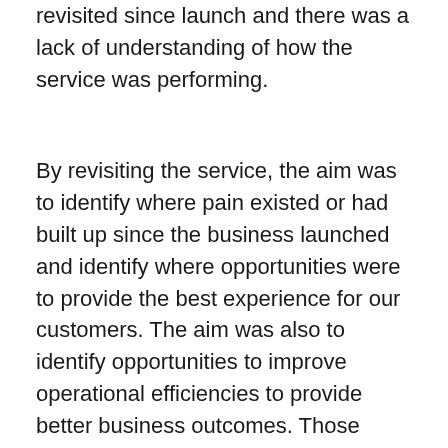revisited since launch and there was a lack of understanding of how the service was performing.
By revisiting the service, the aim was to identify where pain existed or had built up since the business launched and identify where opportunities were to provide the best experience for our customers. The aim was also to identify opportunities to improve operational efficiencies to provide better business outcomes. Those opportunities discovered would then form roadmap items (to teams involved in delivering the service) to drive change and improvement of the service.